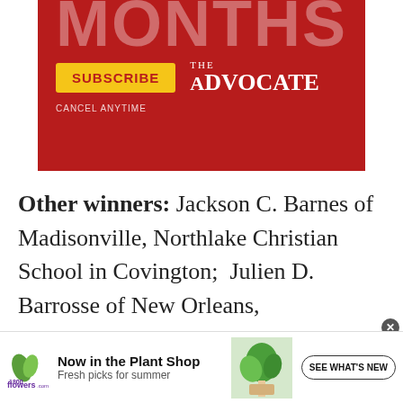[Figure (infographic): The Advocate subscription advertisement on red background with 'MONTHS' text, yellow SUBSCRIBE button, and The Advocate logo. Text: CANCEL ANYTIME]
Other winners: Jackson C. Barnes of Madisonville, Northlake Christian School in Covington;  Julien D. Barrosse of New Orleans,
[Figure (infographic): 1-800-Flowers.com advertisement: Now in the Plant Shop, Fresh picks for summer. SEE WHAT'S NEW button. Photo of green plant.]